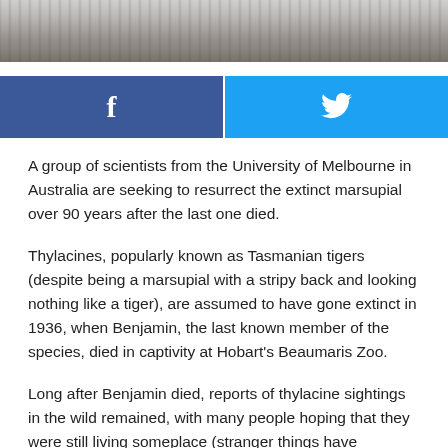[Figure (photo): Partial black and white photograph of a thylacine (Tasmanian tiger), cropped at top of page]
[Figure (infographic): Social media sharing buttons: Facebook (blue) on left and Twitter (cyan) on right]
A group of scientists from the University of Melbourne in Australia are seeking to resurrect the extinct marsupial over 90 years after the last one died.
Thylacines, popularly known as Tasmanian tigers (despite being a marsupial with a stripy back and looking nothing like a tiger), are assumed to have gone extinct in 1936, when Benjamin, the last known member of the species, died in captivity at Hobart's Beaumaris Zoo.
Long after Benjamin died, reports of thylacine sightings in the wild remained, with many people hoping that they were still living someplace (stranger things have